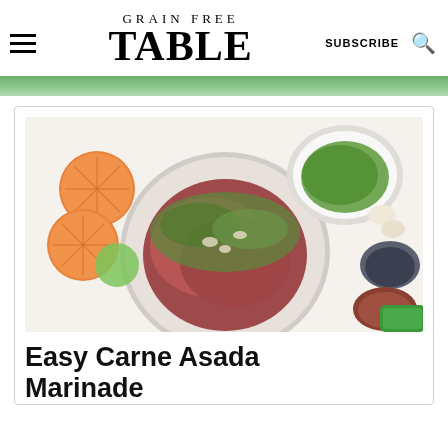GRAIN FREE TABLE | SUBSCRIBE
[Figure (photo): Top strip image showing green limes/produce]
[Figure (photo): Overhead shot of carne asada marinade in a glass bowl surrounded by oranges, limes, garlic, cilantro sauce in white bowl, and small bowls of seasonings on a white surface]
Easy Carne Asada Marinade